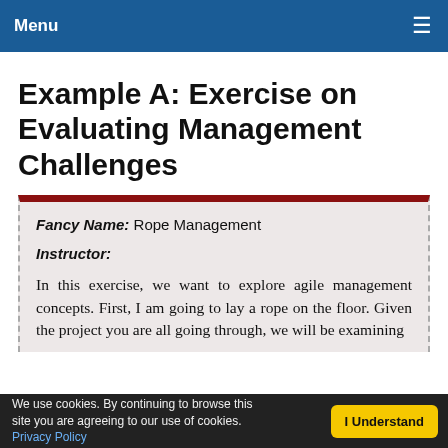Menu
Example A: Exercise on Evaluating Management Challenges
Fancy Name: Rope Management
Instructor:
In this exercise, we want to explore agile management concepts. First, I am going to lay a rope on the floor. Given the project you are all going through, we will be examining several aspects of it.
We use cookies. By continuing to browse this site you are agreeing to our use of cookies. Privacy Policy  I Understand